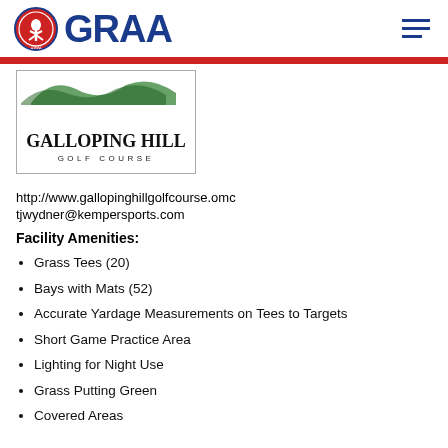GRAA
[Figure (logo): Galloping Hill Golf Course logo with stylized text]
http://www.gallopinghillgolfcourse.omc
tjwydner@kempersports.com
Facility Amenities:
Grass Tees (20)
Bays with Mats (52)
Accurate Yardage Measurements on Tees to Targets
Short Game Practice Area
Lighting for Night Use
Grass Putting Green
Covered Areas